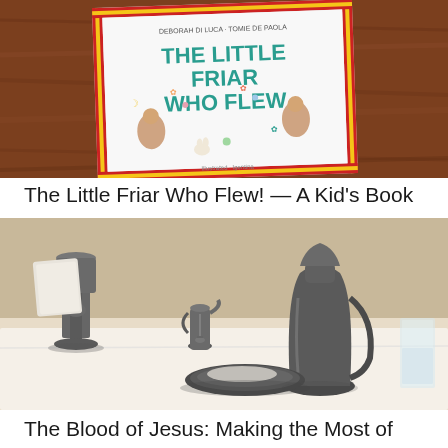[Figure (photo): Photo of a children's book titled 'The Little Friar Who Flew' by Deborah Di Luca and Tomie dePaola, placed on a wooden surface. The cover shows illustrated friars flying.]
The Little Friar Who Flew! — A Kid's Book
[Figure (photo): Black and white photograph of communion vessels including a chalice, cruets, and a plate on a white cloth-covered surface.]
The Blood of Jesus: Making the Most of